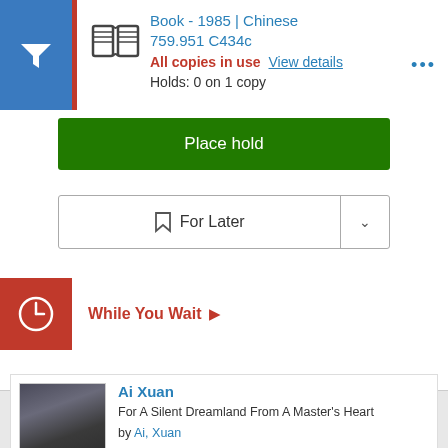Book - 1985 | Chinese
759.951 C434c
All copies in use  View details
Holds: 0 on 1 copy
Place hold
For Later
While You Wait
Ai Xuan
For A Silent Dreamland From A Master's Heart
by Ai, Xuan